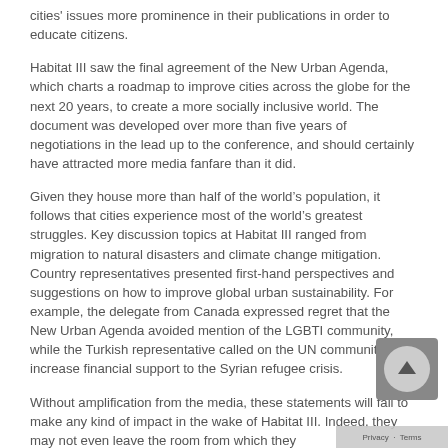cities' issues more prominence in their publications in order to educate citizens.
Habitat III saw the final agreement of the New Urban Agenda, which charts a roadmap to improve cities across the globe for the next 20 years, to create a more socially inclusive world. The document was developed over more than five years of negotiations in the lead up to the conference, and should certainly have attracted more media fanfare than it did.
Given they house more than half of the world’s population, it follows that cities experience most of the world’s greatest struggles. Key discussion topics at Habitat III ranged from migration to natural disasters and climate change mitigation. Country representatives presented first-hand perspectives and suggestions on how to improve global urban sustainability. For example, the delegate from Canada expressed regret that the New Urban Agenda avoided mention of the LGBTI community, while the Turkish representative called on the UN community to increase financial support to the Syrian refugee crisis.
Without amplification from the media, these statements will fail to make any kind of impact in the wake of Habitat III. Indeed, they may not even leave the room from which they